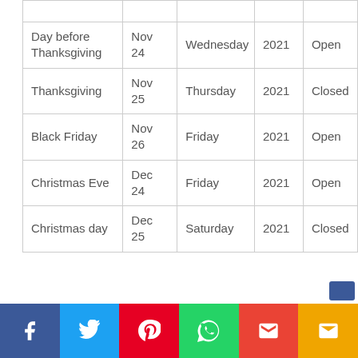| Day before Thanksgiving | Nov 24 | Wednesday | 2021 | Open |
| Thanksgiving | Nov 25 | Thursday | 2021 | Closed |
| Black Friday | Nov 26 | Friday | 2021 | Open |
| Christmas Eve | Dec 24 | Friday | 2021 | Open |
| Christmas day | Dec 25 | Saturday | 2021 | Closed |